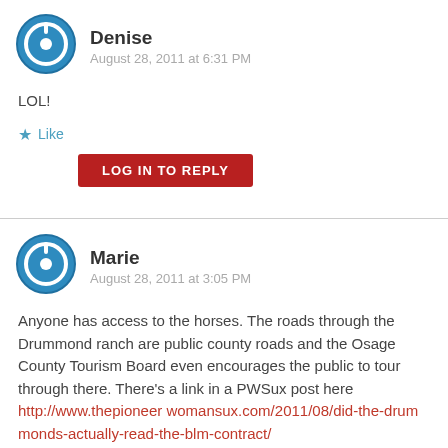[Figure (illustration): Blue circular power/user avatar icon for commenter Denise]
Denise
August 28, 2011 at 6:31 PM
LOL!
★ Like
LOG IN TO REPLY
[Figure (illustration): Blue circular power/user avatar icon for commenter Marie]
Marie
August 28, 2011 at 3:05 PM
Anyone has access to the horses. The roads through the Drummond ranch are public county roads and the Osage County Tourism Board even encourages the public to tour through there. There's a link in a PWSux post here http://www.thepioneer womansux.com/2011/08/did-the-drummonds-actually-read-the-blm-contract/